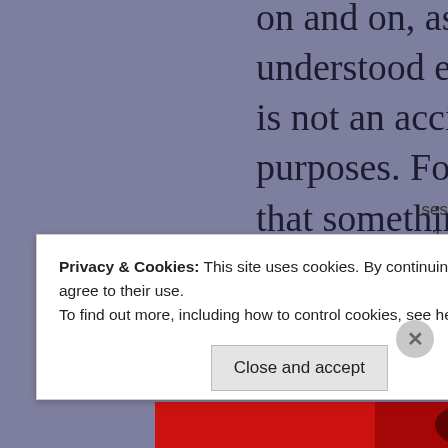on and on, as you go up the pain is more understood even if it may seem the opposite. it is not an accident or, worse, a punishment for purposes. For the body, pain is a defense, that something is wrong and allows you to cured. No scientist would affirm that the sensation felt by touching a flame is useless because of the fatal dangers for the body. Psychic pain, so understood, is a sense of loneliness, abandonment, of unrequited feelings, of misunderstanding, depression. This type of pain prompts the...
Privacy & Cookies: This site uses cookies. By continuing to use this website, you agree to their use.
To find out more, including how to control cookies, see here: Cookie Policy
Close and accept